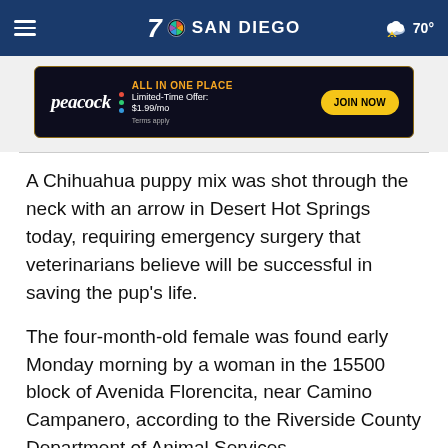7 NBC SAN DIEGO — 70°
[Figure (screenshot): Peacock streaming service advertisement banner: 'ALL IN ONE PLACE — Limited-Time Offer: $1.99/mo — JOIN NOW — Terms apply']
A Chihuahua puppy mix was shot through the neck with an arrow in Desert Hot Springs today, requiring emergency surgery that veterinarians believe will be successful in saving the pup's life.
The four-month-old female was found early Monday morning by a woman in the 15500 block of Avenida Florencita, near Camino Campanero, according to the Riverside County Department of Animal Services.